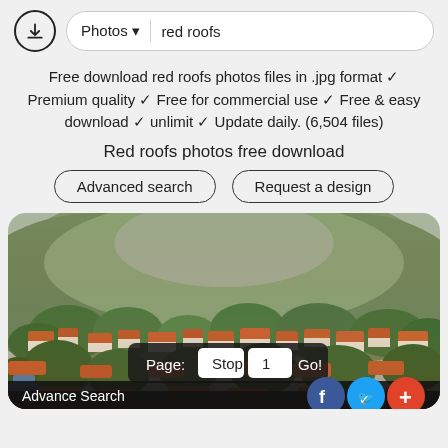Photos ▼  red roofs
Free download red roofs photos files in .jpg format ✓ Premium quality ✓ Free for commercial use ✓ Free & easy download ✓ unlimit ✓ Update daily. (6,504 files)
Red roofs photos free download
Advanced search   Request a design
[Figure (photo): Aerial view of a Mediterranean town with terracotta red roofs, green trees, and rocky hills in the background. Pagination controls and social buttons overlaid at the bottom.]